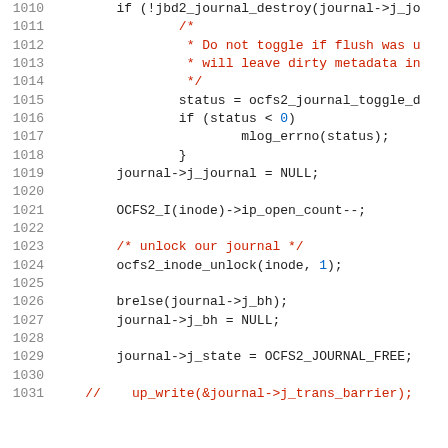Source code listing, lines 1010-1031, showing C code for journal management in OCFS2 filesystem driver.